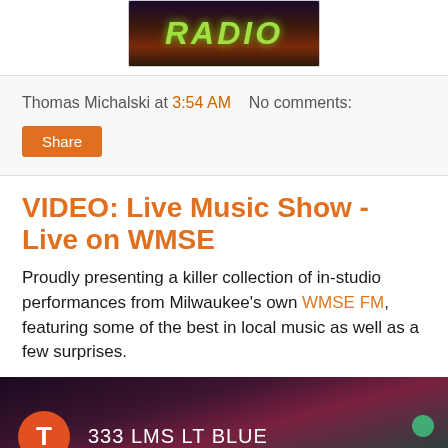[Figure (photo): Top portion of a RADIO logo image with green glowing text on dark cosmic/nebula background]
Thomas Michalski at 3:54 AM   No comments:
Share
VIDEO: Live Music Show - Live on WMSE
Proudly presenting a killer collection of in-studio performances from Milwaukee's own WMSE FM, featuring some of the best in local music as well as a few surprises.
[Figure (screenshot): Video thumbnail showing '333 LMS LT BLUE' label with orange T avatar circle, on dark purple/teal background with partial 'live music' text overlay at bottom]